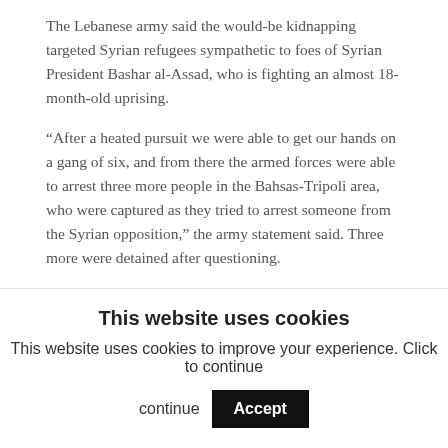The Lebanese army said the would-be kidnapping targeted Syrian refugees sympathetic to foes of Syrian President Bashar al-Assad, who is fighting an almost 18-month-old uprising.
“After a heated pursuit we were able to get our hands on a gang of six, and from there the armed forces were able to arrest three more people in the Bahsas-Tripoli area, who were captured as they tried to arrest someone from the Syrian opposition,” the army statement said. Three more were detained after questioning.
Kidnappings in Lebanon have reinforced fears that the Syria conflict could reignite instability in a much smaller
This website uses cookies
This website uses cookies to improve your experience. Click to continue